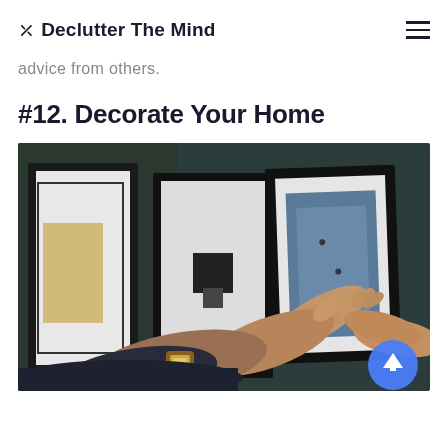⌧ Declutter The Mind
advice from others.
#12. Decorate Your Home
[Figure (photo): Hands arranging picture frames on a dark wall, showing someone decorating their home with framed artwork.]